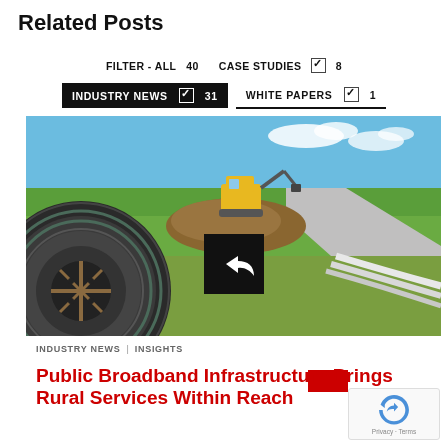Related Posts
FILTER - ALL  40    CASE STUDIES  ✓  8
INDUSTRY NEWS  ✓  31    WHITE PAPERS  ✓  1
[Figure (photo): A large cable reel with grey conduit/cable in the foreground on a green field, with a yellow excavator digging in the background near a road under a blue sky.]
INDUSTRY NEWS  |  INSIGHTS
Public Broadband Infrastructure Brings Rural Services Within Reach